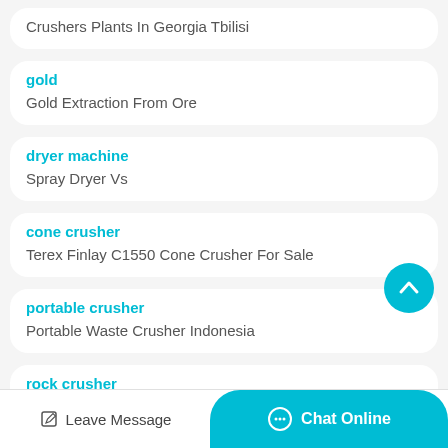Crushers Plants In Georgia Tbilisi
gold
Gold Extraction From Ore
dryer machine
Spray Dryer Vs
cone crusher
Terex Finlay C1550 Cone Crusher For Sale
portable crusher
Portable Waste Crusher Indonesia
rock crusher
Leave Message
Chat Online